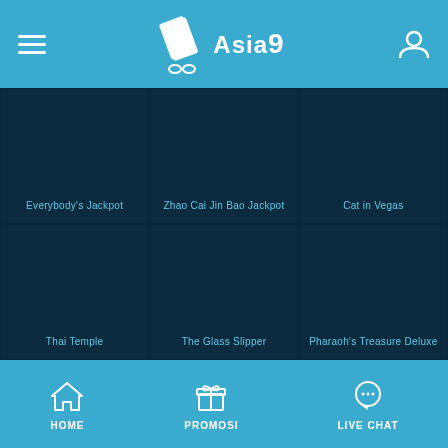Asia9 - mobile navigation header
Everybody's Jackpot
Zhao Cai Jin Bao Jackpot
Cat in Vegas
Thai Temple
The Glass Slipper
Pharaoh's Treasure Deluxe
HOME  PROMOSI  LIVE CHAT